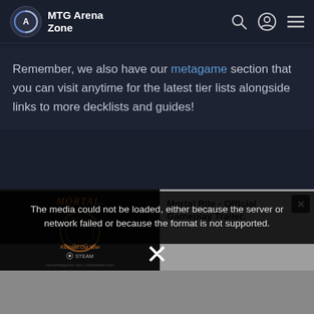MTG Arena Zone
Remember, we also have our metagame section that you can visit anytime for the latest tier lists alongside links to more decklists and guides!
[Figure (screenshot): Video player showing Mortal Rite - Official Gameplay Trailer with error overlay: The media could not be loaded, either because the server or network failed or because the format is not supported.]
Mortal Rite - Official Gameplay Trailer.